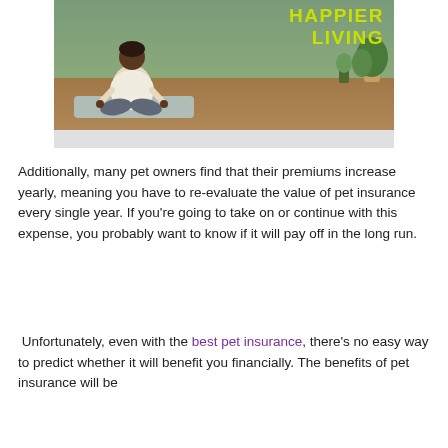[Figure (photo): A person sitting in a cross-legged meditation pose on a yoga mat outdoors on a wooden deck, with plants in the background. Bold yellow-green text overlay reads 'HAPPIER LIVING' in the upper right.]
Additionally, many pet owners find that their premiums increase yearly, meaning you have to re-evaluate the value of pet insurance every single year. If you're going to take on or continue with this expense, you probably want to know if it will pay off in the long run.
Unfortunately, even with the best pet insurance, there's no easy way to predict whether it will benefit you financially. The benefits of pet insurance will be